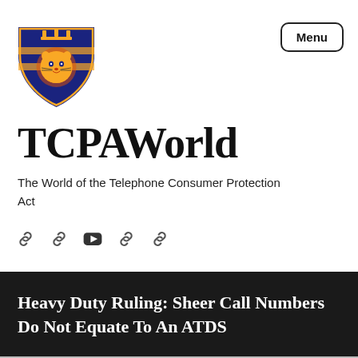[Figure (logo): TCPAWorld lion shield logo in gold and navy blue]
TCPAWorld
The World of the Telephone Consumer Protection Act
[Figure (infographic): Row of social media link/chain icons and a YouTube play button icon]
Heavy Duty Ruling: Sheer Call Numbers Do Not Equate To An ATDS